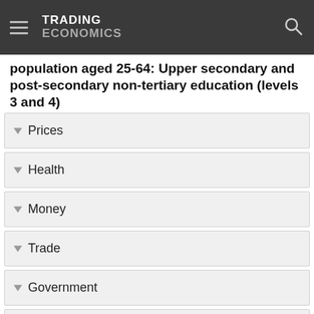TRADING ECONOMICS
population aged 25-64: Upper secondary and post-secondary non-tertiary education (levels 3 and 4)
Prices
Health
Money
Trade
Government
Business
Consumer